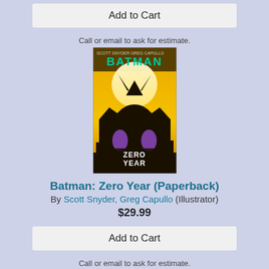Add to Cart
Call or email to ask for estimate.
[Figure (photo): Batman: Zero Year book cover — Batman silhouette against yellow background with text 'BATMAN ZERO YEAR']
Batman: Zero Year (Paperback)
By Scott Snyder, Greg Capullo (Illustrator)
$29.99
Add to Cart
Call or email to ask for estimate.
[Figure (photo): The Calvin and Hobbes book cover — partial view showing cartoon characters]